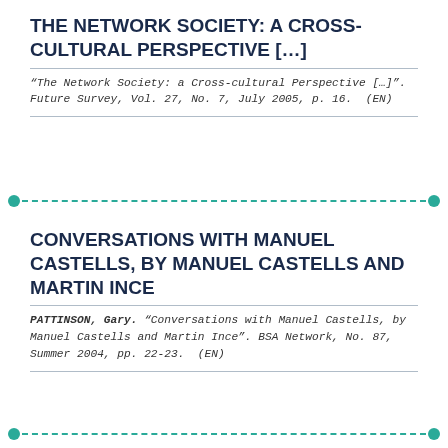THE NETWORK SOCIETY: A CROSS-CULTURAL PERSPECTIVE [...]
"The Network Society: a Cross-cultural Perspective [...]". Future Survey, Vol. 27, No. 7, July 2005, p. 16.  (EN)
CONVERSATIONS WITH MANUEL CASTELLS, BY MANUEL CASTELLS AND MARTIN INCE
PATTINSON, Gary. "Conversations with Manuel Castells, by Manuel Castells and Martin Ince". BSA Network, No. 87, Summer 2004, pp. 22-23.  (EN)